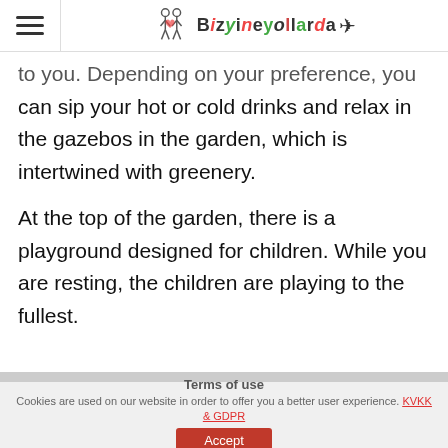Bizyineyollarda
to you. Depending on your preference, you can sip your hot or cold drinks and relax in the gazebos in the garden, which is intertwined with greenery.
At the top of the garden, there is a playground designed for children. While you are resting, the children are playing to the fullest.
Terms of use
Cookies are used on our website in order to offer you a better user experience. KVKK & GDPR
Accept